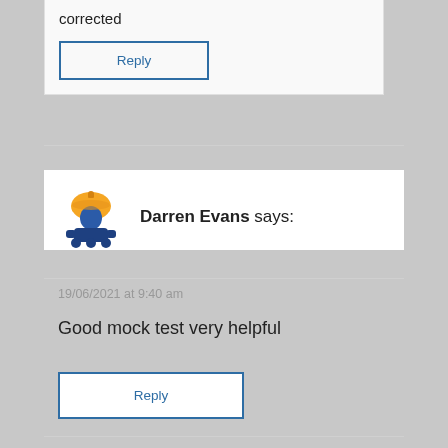corrected
Reply
Darren Evans says:
19/06/2021 at 9:40 am
Good mock test very helpful
Reply